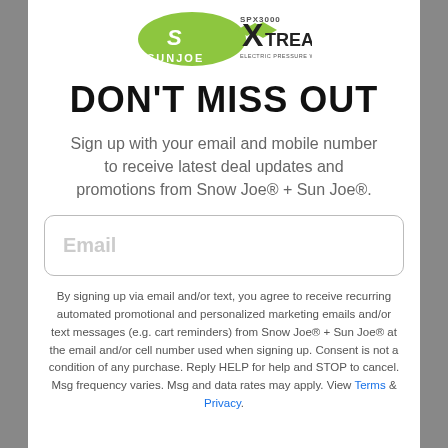[Figure (logo): Sun Joe logo (green oval with stylized S) and SPX3000 XTREAM Electric Pressure Washer logo side by side]
DON'T MISS OUT
Sign up with your email and mobile number to receive latest deal updates and promotions from Snow Joe® + Sun Joe®.
Email (input field placeholder)
By signing up via email and/or text, you agree to receive recurring automated promotional and personalized marketing emails and/or text messages (e.g. cart reminders) from Snow Joe® + Sun Joe® at the email and/or cell number used when signing up. Consent is not a condition of any purchase. Reply HELP for help and STOP to cancel. Msg frequency varies. Msg and data rates may apply. View Terms & Privacy.